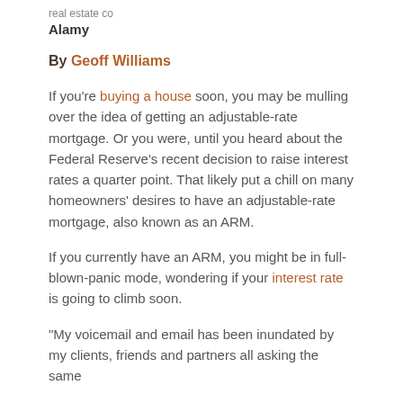real estate co
Alamy
By Geoff Williams
If you're buying a house soon, you may be mulling over the idea of getting an adjustable-rate mortgage. Or you were, until you heard about the Federal Reserve's recent decision to raise interest rates a quarter point. That likely put a chill on many homeowners' desires to have an adjustable-rate mortgage, also known as an ARM.
If you currently have an ARM, you might be in full-blown-panic mode, wondering if your interest rate is going to climb soon.
“My voicemail and email has been inundated by my clients, friends and partners all asking the same